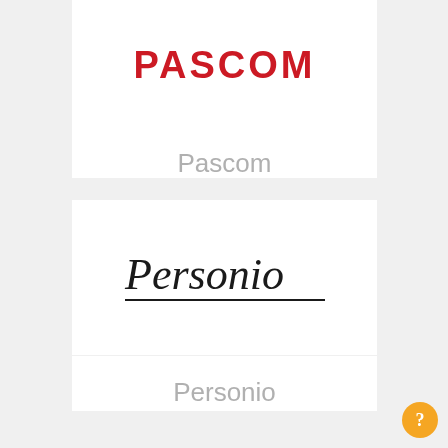[Figure (logo): PASCOM logo in bold red uppercase letters]
Pascom
[Figure (logo): Personio logo in cursive/script handwriting style with underline]
Personio